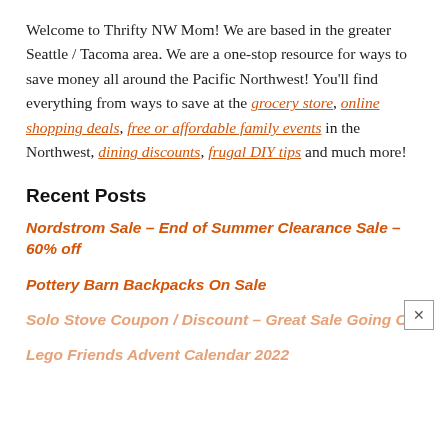Welcome to Thrifty NW Mom! We are based in the greater Seattle / Tacoma area. We are a one-stop resource for ways to save money all around the Pacific Northwest! You'll find everything from ways to save at the grocery store, online shopping deals, free or affordable family events in the Northwest, dining discounts, frugal DIY tips and much more!
Recent Posts
Nordstrom Sale – End of Summer Clearance Sale – 60% off
Pottery Barn Backpacks On Sale
Solo Stove Coupon / Discount – Great Sale Going On
Lego Friends Advent Calendar 2022